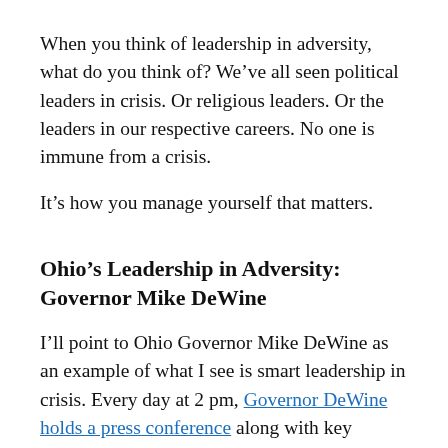When you think of leadership in adversity, what do you think of? We've all seen political leaders in crisis. Or religious leaders. Or the leaders in our respective careers. No one is immune from a crisis.
It's how you manage yourself that matters.
Ohio's Leadership in Adversity: Governor Mike DeWine
I'll point to Ohio Governor Mike DeWine as an example of what I see is smart leadership in crisis. Every day at 2 pm, Governor DeWine holds a press conference along with key